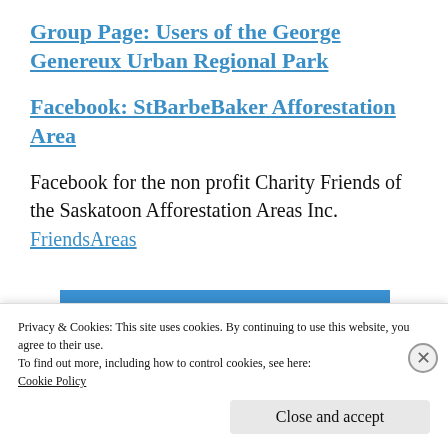Group Page: Users of the George Genereux Urban Regional Park
Facebook: StBarbeBaker Afforestation Area
Facebook for the non profit Charity Friends of the Saskatoon Afforestation Areas Inc.
FriendsAreas
[Figure (photo): Person leaping/diving against a blue sky background]
Privacy & Cookies: This site uses cookies. By continuing to use this website, you agree to their use.
To find out more, including how to control cookies, see here: Cookie Policy
Close and accept